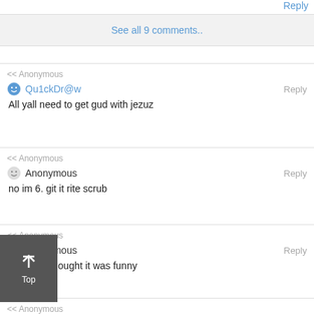Reply
See all 9 comments..
<< Anonymous
Qu1ckDr@w
All yall need to get gud with jezuz
Reply
<< Anonymous
Anonymous
no im 6. git it rite scrub
Reply
<< Anonymous
Anonymous
I actually thought it was funny
Reply
<< Anonymous
Guy man duck
Me too
Reply